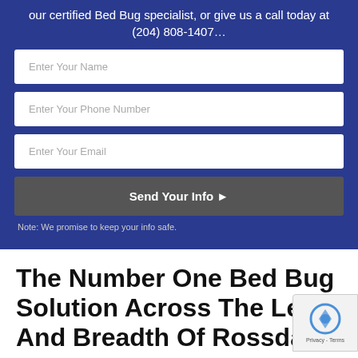our certified Bed Bug specialist, or give us a call today at (204) 808-1407…
[Figure (screenshot): Web contact form with fields: Enter Your Name, Enter Your Phone Number, Enter Your Email, and a Send Your Info button on a dark blue background]
Note: We promise to keep your info safe.
The Number One Bed Bug Solution Across The Length And Breadth Of Rossdale,